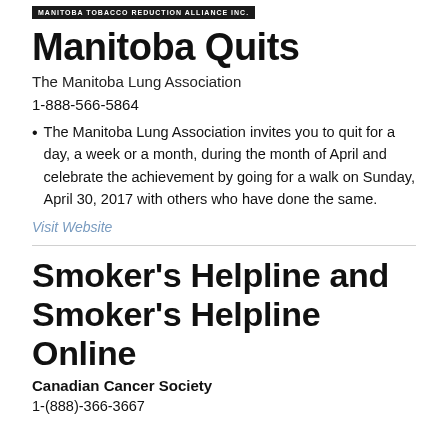MANITOBA TOBACCO REDUCTION ALLIANCE INC.
Manitoba Quits
The Manitoba Lung Association
1-888-566-5864
The Manitoba Lung Association invites you to quit for a day, a week or a month, during the month of April and celebrate the achievement by going for a walk on Sunday, April 30, 2017 with others who have done the same.
Visit Website
Smoker's Helpline and Smoker's Helpline Online
Canadian Cancer Society
1-(888)-366-3667